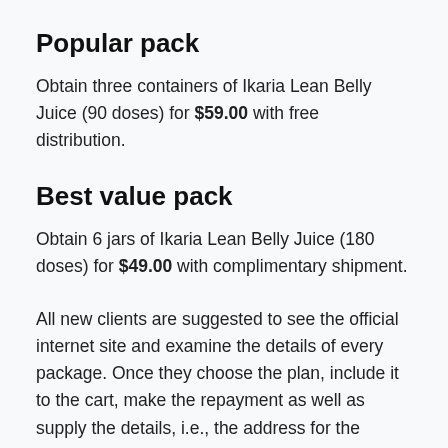Popular pack
Obtain three containers of Ikaria Lean Belly Juice (90 doses) for $59.00 with free distribution.
Best value pack
Obtain 6 jars of Ikaria Lean Belly Juice (180 doses) for $49.00 with complimentary shipment.
All new clients are suggested to see the official internet site and examine the details of every package. Once they choose the plan, include it to the cart, make the repayment as well as supply the details, i.e., the address for the delivery. They will certainly obtain a confirmatory e-mail from the